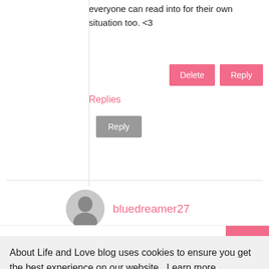everyone can read into for their own situation too. <3
Replies
bluedreamer27
About Life and Love blog uses cookies to ensure you get the best experience on our website. Learn more
Got it!